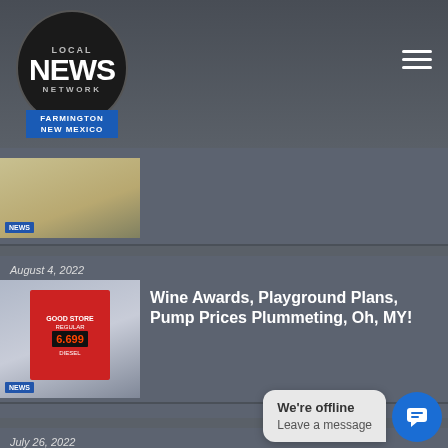[Figure (logo): Local News Network Farmington New Mexico logo, circular black badge with white text and blue banner]
[Figure (photo): Partial top article thumbnail showing a reflective surface, partial view]
August 4, 2022
[Figure (photo): Gas station price sign showing fuel prices, cloudy sky background]
Wine Awards, Playground Plans, Pump Prices Plummeting, Oh, MY!
July 26, 2022
[Figure (photo): I Heart Mac & Cheese store front with heart logo]
First “I Heart Mac & Cheese” Opens in New Mexico
We’re offline
Leave a message